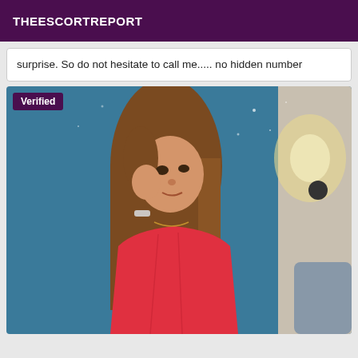THEESCORTREPORT
surprise. So do not hesitate to call me..... no hidden number
[Figure (photo): Young woman with long brown hair wearing a red top, sitting in a room with blue wall and lamp, with a 'Verified' badge overlay in top-left corner]